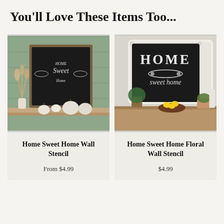You'll Love These Items Too...
[Figure (photo): Home Sweet Home wall stencil chalk sign with dried pampas grass and white pumpkins on a wooden shelf]
Home Sweet Home Wall Stencil
From $4.99
[Figure (photo): Home Sweet Home Floral wall stencil black chalkboard sign in ornate white frame with plants and a wooden bowl of lemons on a dresser]
Home Sweet Home Floral Wall Stencil
$4.99